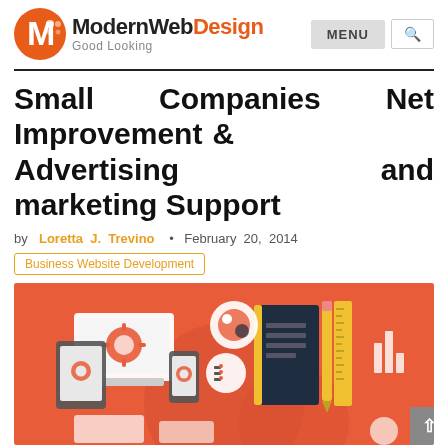ModernWebDesign • Good Looking | MENU | Search
Small Companies Net Improvement & Advertising and marketing Support
by Loretta J. Trevino • February 20, 2014
Business Website Development
[Figure (illustration): Flat design illustration of web/digital marketing tools including devices (laptop, tablet, phone), gears, notebook, ruler, and business icons on a coral/red-orange background]